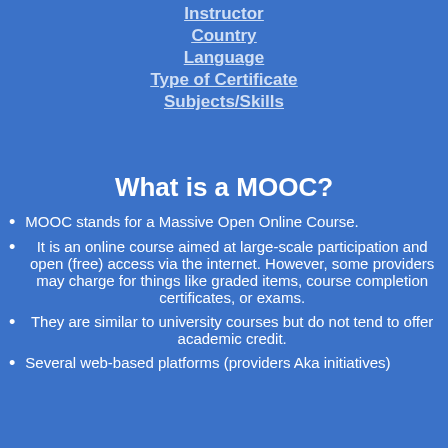Instructor
Country
Language
Type of Certificate
Subjects/Skills
What is a MOOC?
MOOC stands for a Massive Open Online Course.
It is an online course aimed at large-scale participation and open (free) access via the internet. However, some providers may charge for things like graded items, course completion certificates, or exams.
They are similar to university courses but do not tend to offer academic credit.
Several web-based platforms (providers Aka initiatives)